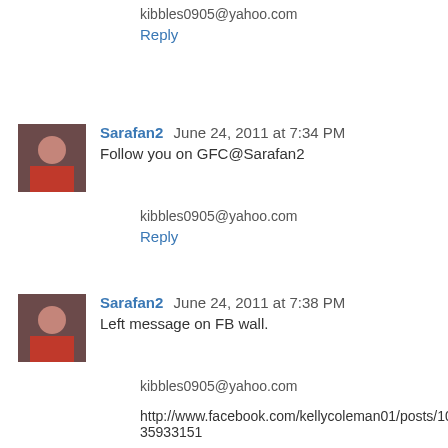kibbles0905@yahoo.com
Reply
Sarafan2  June 24, 2011 at 7:34 PM
Follow you on GFC@Sarafan2
kibbles0905@yahoo.com
Reply
Sarafan2  June 24, 2011 at 7:38 PM
Left message on FB wall.
kibbles0905@yahoo.com
http://www.facebook.com/kellycoleman01/posts/10150234035933151